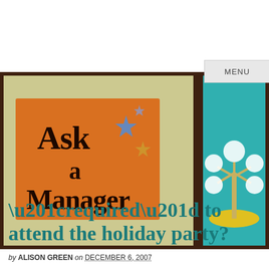MENU
[Figure (illustration): Retro mid-century modern style illustration banner for 'Ask a Manager' blog. Shows panel sections: left panel with olive/cream background and orange sign reading 'Ask a Manager' with blue sparkle stars; center panel with teal background and a white stylized tree with round orbs on yellow oval ground; right panel with teal background showing a woman with red hair in grey blazer and skirt with red heels standing confidently; far right panel partially visible with teal background and purple/grey furniture.]
“required” to attend the holiday party?
by ALISON GREEN on DECEMBER 6, 2007